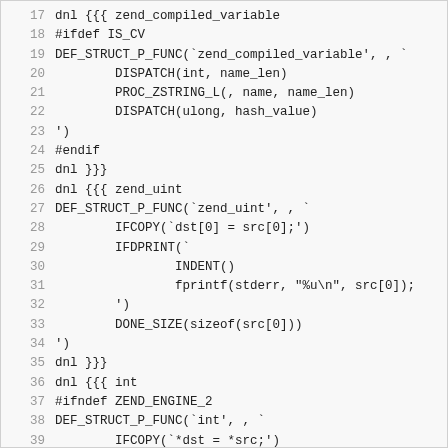Code listing lines 17-39, showing macro definitions for zend_compiled_variable, zend_uint, and int structures in C/M4 syntax.